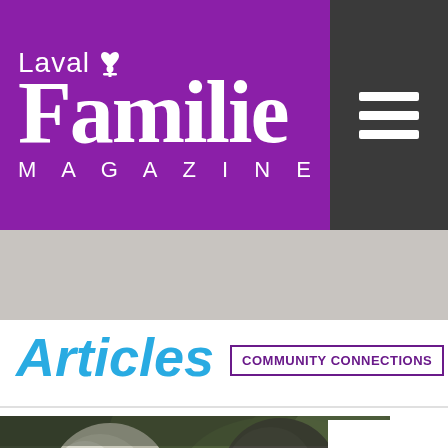[Figure (logo): Laval Famille Magazine logo in white text on purple background, with a heart icon above]
[Figure (other): Dark gray hamburger menu icon with three white horizontal lines]
[Figure (other): Gray banner/advertisement area below the header]
Articles
COMMUNITY CONNECTIONS
[Figure (photo): Two wolves, one gray/white and one dark, photographed close-up with green foliage in background]
For th Wolv